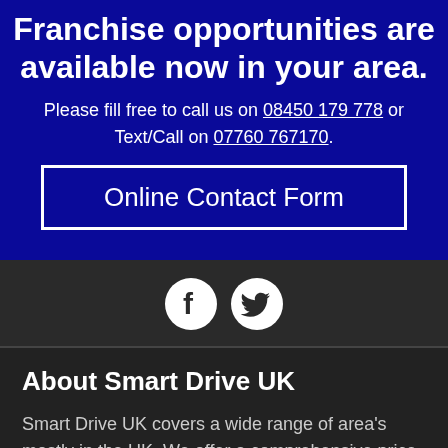Franchise opportunities are available now in your area.
Please fill free to call us on 08450 179 778 or Text/Call on 07760 767170.
Online Contact Form
[Figure (illustration): Facebook and Twitter social media icons (white circles with black logos)]
About Smart Drive UK
Smart Drive UK covers a wide range of area's mostly in the UK. We offer a comprehensive price plan throughout each